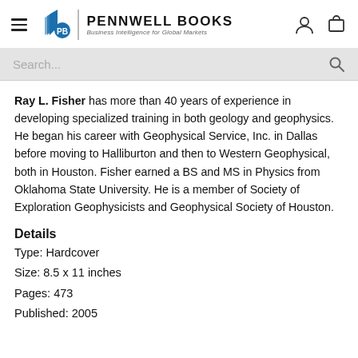PENNWELL BOOKS — Business Intelligence for Global Markets
Ray L. Fisher has more than 40 years of experience in developing specialized training in both geology and geophysics. He began his career with Geophysical Service, Inc. in Dallas before moving to Halliburton and then to Western Geophysical, both in Houston. Fisher earned a BS and MS in Physics from Oklahoma State University. He is a member of Society of Exploration Geophysicists and Geophysical Society of Houston.
Details
Type: Hardcover
Size: 8.5 x 11 inches
Pages: 473
Published: 2005